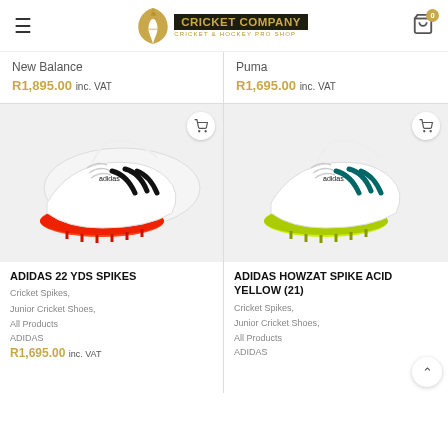Cricket Company — Cricket & Hockey Pro Shop
New Balance
R1,895.00 inc. VAT
Puma
R1,695.00 inc. VAT
[Figure (photo): Adidas 22 YDS Spikes cricket shoes with white upper, black three-stripe design, and red spike sole]
ADIDAS 22 YDS SPIKES
Cricket Spikes,
Junior Cricket Shoes,
All Products
ADIDAS
R1,695.00 inc. VAT
[Figure (photo): Adidas Howzat Spike Acid Yellow cricket shoes with white upper, dark teal three-stripe design, and yellow spike sole]
ADIDAS HOWZAT SPIKE ACID YELLOW (21)
Cricket Spikes,
Junior Cricket Shoes,
All Products
ADIDAS